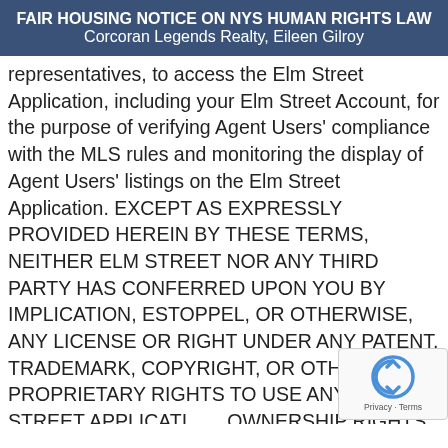FAIR HOUSING NOTICE ON NYS HUMAN RIGHTS LAW
Corcoran Legends Realty, Eileen Gilroy
representatives, to access the Elm Street Application, including your Elm Street Account, for the purpose of verifying Agent Users' compliance with the MLS rules and monitoring the display of Agent Users' listings on the Elm Street Application. EXCEPT AS EXPRESSLY PROVIDED HEREIN BY THESE TERMS, NEITHER ELM STREET NOR ANY THIRD PARTY HAS CONFERRED UPON YOU BY IMPLICATION, ESTOPPEL, OR OTHERWISE, ANY LICENSE OR RIGHT UNDER ANY PATENT, TRADEMARK, COPYRIGHT, OR OTHER PROPRIETARY RIGHTS TO USE ANY ELM STREET APPLICATI... OWNERSHIP RIGHTS ARE OR WILL BE ASSIGN... YOU.